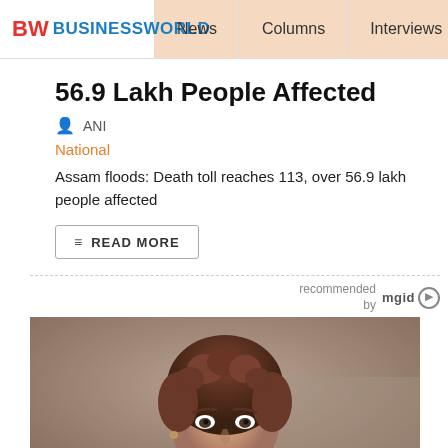BW BUSINESSWORLD | News | Columns | Interviews | BW
56.9 Lakh People Affected
ANI
National
Assam floods: Death toll reaches 113, over 56.9 lakh people affected
READ MORE
recommended by mgid
[Figure (photo): Portrait photo of a woman with short curly brown hair, looking at the camera]